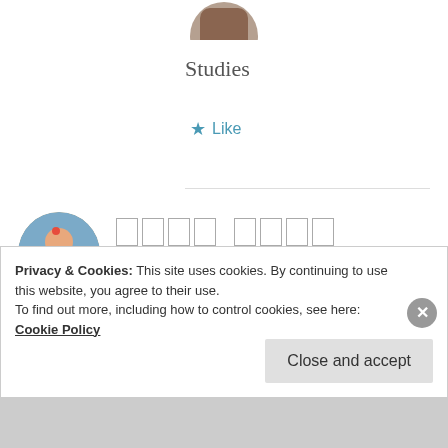[Figure (photo): Partially visible circular avatar at top of page]
Studies
★ Like
[Figure (photo): Circular avatar of a woman in traditional Indian attire]
□□□□ □□□□
27 Apr 2019 at 8:52 pm
for which subject ? you are in college now ??
Privacy & Cookies: This site uses cookies. By continuing to use this website, you agree to their use.
To find out more, including how to control cookies, see here: Cookie Policy
Close and accept